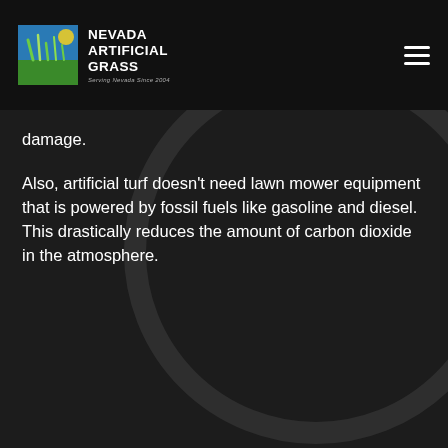NEVADA ARTIFICIAL GRASS — Serving Nevada Since 2004
damage.
Also, artificial turf doesn't need lawn mower equipment that is powered by fossil fuels like gasoline and diesel. This drastically reduces the amount of carbon dioxide in the atmosphere.